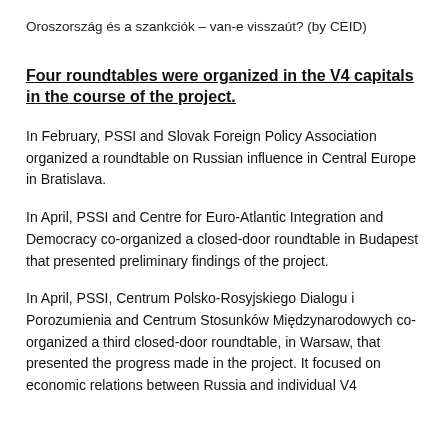Oroszország és a szankciók – van-e visszaút? (by CEID)
Four roundtables were organized in the V4 capitals in the course of the project.
In February, PSSI and Slovak Foreign Policy Association organized a roundtable on Russian influence in Central Europe in Bratislava.
In April, PSSI and Centre for Euro-Atlantic Integration and Democracy co-organized a closed-door roundtable in Budapest that presented preliminary findings of the project.
In April, PSSI, Centrum Polsko-Rosyjskiego Dialogu i Porozumienia and Centrum Stosunków Międzynarodowych co-organized a third closed-door roundtable, in Warsaw, that presented the progress made in the project. It focused on economic relations between Russia and individual V4